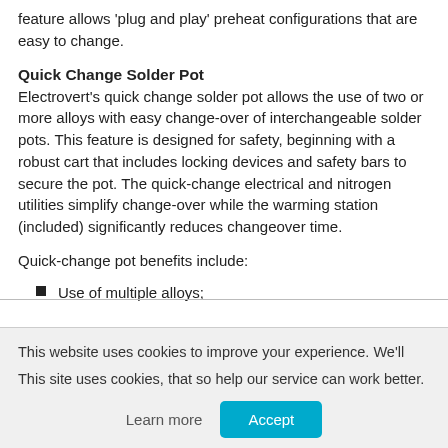feature allows 'plug and play' preheat configurations that are easy to change.
Quick Change Solder Pot
Electrovert's quick change solder pot allows the use of two or more alloys with easy change-over of interchangeable solder pots. This feature is designed for safety, beginning with a robust cart that includes locking devices and safety bars to secure the pot. The quick-change electrical and nitrogen utilities simplify change-over while the warming station (included) significantly reduces changeover time.
Quick-change pot benefits include:
Use of multiple alloys;
This website uses cookies to improve your experience. We'll
This site uses cookies, that so help our service can work better.
Learn more
Accept